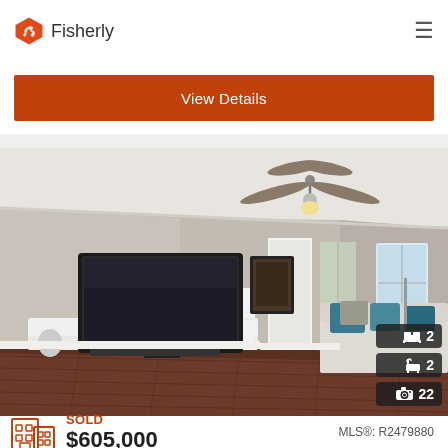Fisherly
View Details
[Figure (photo): Interior living room photo showing hardwood floors, ceiling fan, flat-screen TV on white media console, couch with blue pillows, sliding glass door, and window. Badges show 2 bedrooms, 2 bathrooms, 22 photos.]
SOLD $605,000   MLS®: R2479880